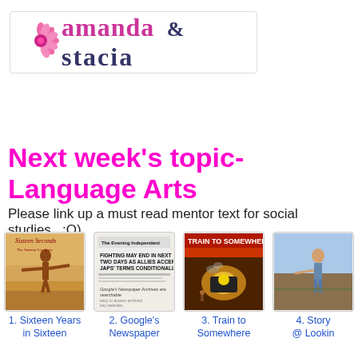[Figure (logo): Amanda & Stacia blog logo with pink flower, text 'amanda & stacia' in pink and dark blue]
Next week's topic- Language Arts
Please link up a must read mentor text for social studies.  :O)
[Figure (illustration): Book cover: Sixteen Seconds - The Sammy Lee Story, boy with arms outstretched]
1. Sixteen Years in Sixteen
[Figure (illustration): Book cover: Google's Newspaper Archives are searchable]
2. Google's Newspaper
[Figure (illustration): Book cover: Train to Somewhere, train illustration with warm orange tones]
3. Train to Somewhere
[Figure (illustration): Book cover: Story @ Looking, partial view of child outside]
4. Story @ Lookin